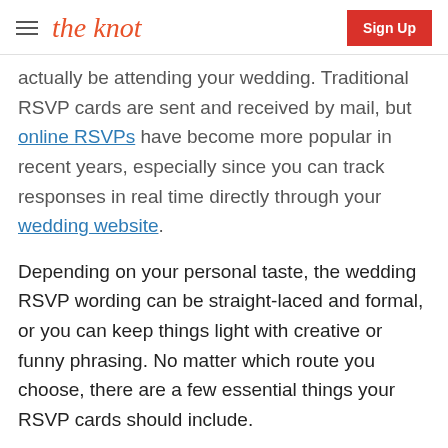the knot | Sign Up
actually be attending your wedding. Traditional RSVP cards are sent and received by mail, but online RSVPs have become more popular in recent years, especially since you can track responses in real time directly through your wedding website.
Depending on your personal taste, the wedding RSVP wording can be straight-laced and formal, or you can keep things light with creative or funny phrasing. No matter which route you choose, there are a few essential things your RSVP cards should include.
ADVERTISEMENT